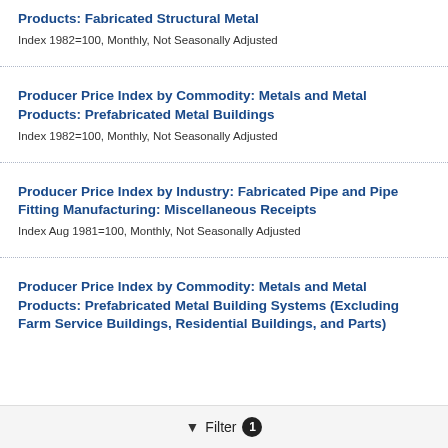Products: Fabricated Structural Metal
Index 1982=100, Monthly, Not Seasonally Adjusted
Producer Price Index by Commodity: Metals and Metal Products: Prefabricated Metal Buildings
Index 1982=100, Monthly, Not Seasonally Adjusted
Producer Price Index by Industry: Fabricated Pipe and Pipe Fitting Manufacturing: Miscellaneous Receipts
Index Aug 1981=100, Monthly, Not Seasonally Adjusted
Producer Price Index by Commodity: Metals and Metal Products: Prefabricated Metal Building Systems (Excluding Farm Service Buildings, Residential Buildings, and Parts)
Filter 1